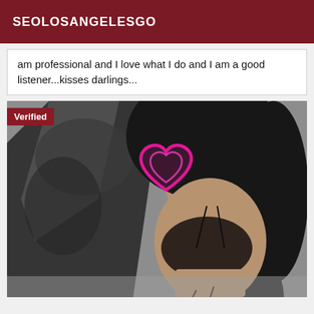SEOLOSANGELESGO
am professional and I love what I do and I am a good listener...kisses darlings...
[Figure (photo): Woman with long dark hair wearing black lace lingerie, posed against dark velvet pillows. Face obscured by a pink neon heart/lips graphic. A red 'Verified' badge overlays the top-left corner of the image.]